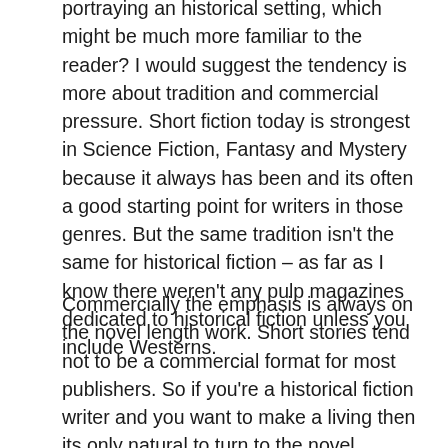portraying an historical setting, which might be much more familiar to the reader? I would suggest the tendency is more about tradition and commercial pressure. Short fiction today is strongest in Science Fiction, Fantasy and Mystery because it always has been and its often a good starting point for writers in those genres. But the same tradition isn't the same for historical fiction – as far as I know there weren't any pulp magazines dedicated to historical fiction unless you include Westerns.
Commercially the emphasis is always on the novel length work. Short stories tend not to be a commercial format for most publishers. So if you're a historical fiction writer and you want to make a living then its only natural to turn to the novel. Interestingly it seems that some authors